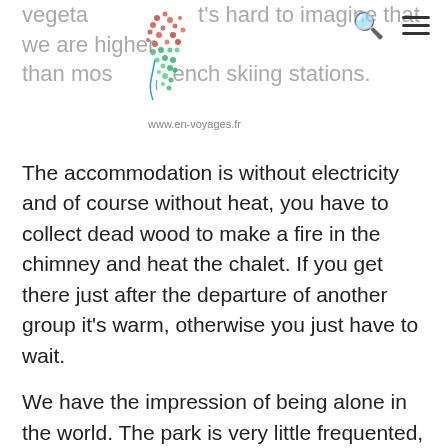vegetation it's hard to imagine that we are higher than most French skiing stations.
The accommodation is without electricity and of course without heat, you have to collect dead wood to make a fire in the chimney and heat the chalet. If you get there just after the departure of another group it's warm, otherwise you just have to wait.
We have the impression of being alone in the world. The park is very little frequented, we will cross only one car per day, we are here in an atmosphere "Gorillas in the mist" ..... Without the gorillas.